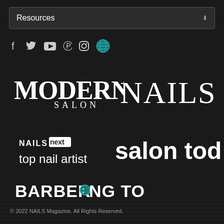Resources
[Figure (logo): Social media icons: Facebook, Twitter, YouTube, Pinterest, Instagram, Globe/world icon]
[Figure (logo): MODERN SALON logo in white serif font on dark background]
[Figure (logo): NAILS logo in large white serif font on dark background]
[Figure (logo): NAILS next top nail artist logo in white font on dark background]
[Figure (logo): salon today logo in white bold font on dark background]
[Figure (logo): BARBERING TODAY logo in white bold font with teal accent on dark background]
© 2022 NAILS Magazine. All Rights Reserved.